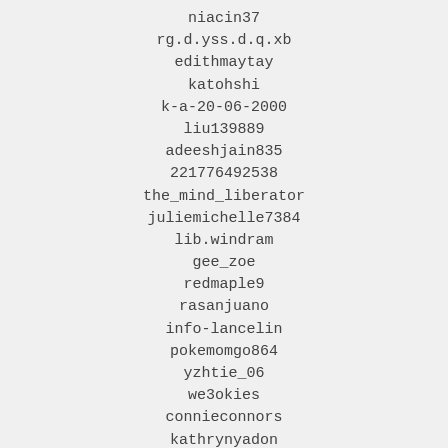niacin37
rg.d.yss.d.q.xb
edithmaytay
katohshi
k-a-20-06-2000
liu139889
adeeshjain835
221776492538
the_mind_liberator
juliemichelle7384
lib.windram
gee_zoe
redmaple9
rasanjuano
info-lancelin
pokemomgo864
yzhtie_06
we3okies
connieconnors
kathrynyadon
vladavilov
mdubzz
hmc012577
jenren71179